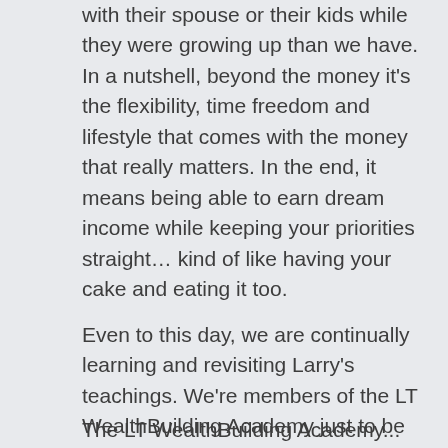with their spouse or their kids while they were growing up than we have. In a nutshell, beyond the money it's the flexibility, time freedom and lifestyle that comes with the money that really matters. In the end, it means being able to earn dream income while keeping your priorities straight… kind of like having your cake and eating it too.
Even to this day, we are continually learning and revisiting Larry's teachings. We're members of the LT WealthBuilding Academy just to be able to watch The Millionaire Training and use many of their other resources.
The LT WealthBuilding Academy... Six Steps to...